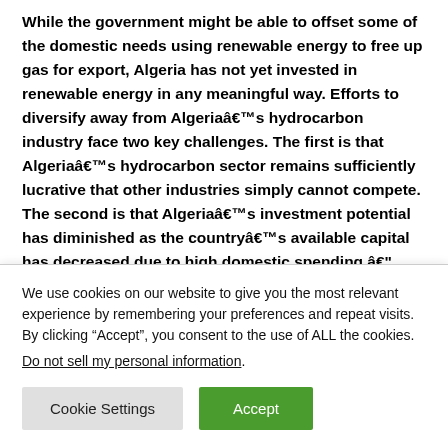While the government might be able to offset some of the domestic needs using renewable energy to free up gas for export, Algeria has not yet invested in renewable energy in any meaningful way. Efforts to diversify away from Algeriaâs hydrocarbon industry face two key challenges. The first is that Algeriaâs hydrocarbon sector remains sufficiently lucrative that other industries simply cannot compete. The second is that Algeriaâs investment potential has diminished as the countryâs available capital has decreased due to high domestic spending â largely on social programs â and sustained lower oil prices
We use cookies on our website to give you the most relevant experience by remembering your preferences and repeat visits. By clicking “Accept”, you consent to the use of ALL the cookies.
Do not sell my personal information.